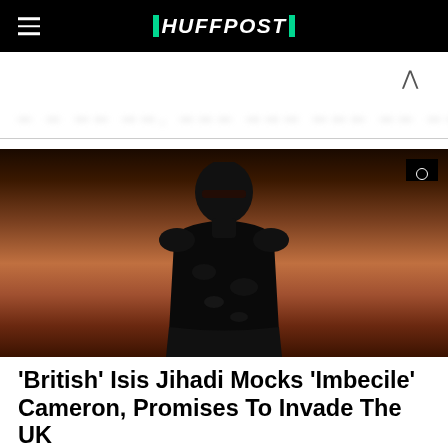HUFFPOST
— — —— ——, ——— ——— ——— —— ——
[Figure (photo): A masked figure dressed in black standing against a sandy desert background, with a small black ISIS flag visible in the top right corner of the image.]
'British' Isis Jihadi Mocks 'Imbecile' Cameron, Promises To Invade The UK